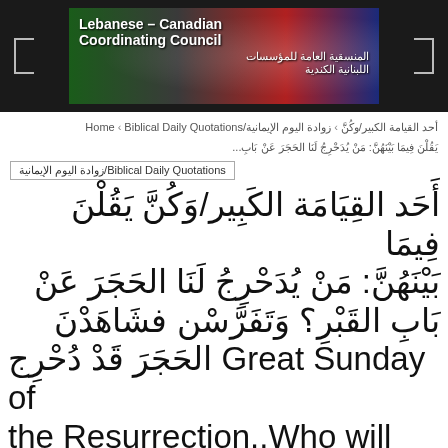[Figure (illustration): Lebanese-Canadian Coordinating Council header banner with logo text in English and Arabic on dark background with flags/decorative imagery]
Lebanese-Canadian Coordinating Council / المنسقية العامة للمؤسسات اللبنانية الكندية
أحد القيامة الكبير/وكُنَّ يَقُلْنَ فِيمَا بَيْنَهُنَّ: مَنْ يُدَحْرِجُ لَنَا الحَجَرَ عَنْ بَابِ القَبْرِ؟ وَتَفَرَّسْن فشَاهَدْنَ الحَجَرَ قَدْ دُحْرِج Great Sunday of the Resurrection..Who will roll away the stone for us from the entrance to the tomb?' When they looked up, they saw that the stone, which was very
Home › Biblical Daily Quotations/زوادة اليوم الإيمانية › أحد القيامة الكبير/وكُنَّ يَقُلْنَ فِيمَا بَيْنَهُنَّ: مَنْ يُدَحْرِجُ لَنَا الحَجَرَ عَنْ بَابِ...
Biblical Daily Quotations/زوادة اليوم الإيمانية